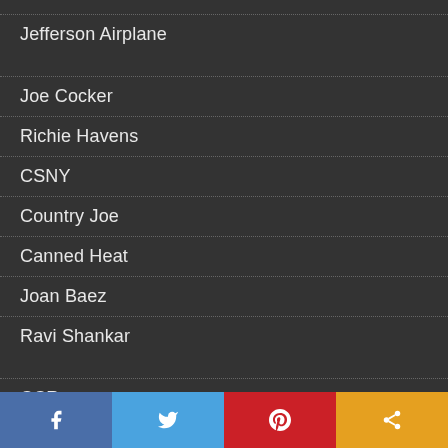Jefferson Airplane
Joe Cocker
Richie Havens
CSNY
Country Joe
Canned Heat
Joan Baez
Ravi Shankar
CCR
Arlo Guthrie
The Incredible String Band
Tim Hardin